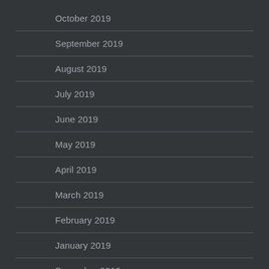October 2019
September 2019
August 2019
July 2019
June 2019
May 2019
April 2019
March 2019
February 2019
January 2019
December 2018